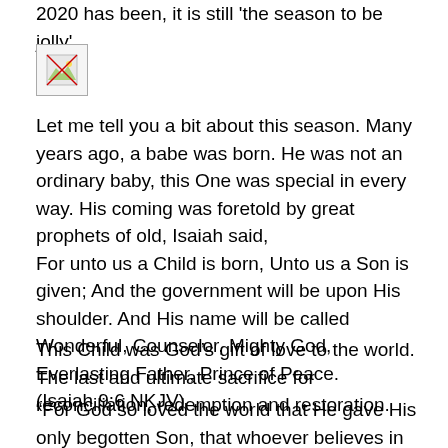2020 has been, it is still 'the season to be jolly'.
[Figure (photo): Small image placeholder with broken image icon (landscape/photo thumbnail)]
Let me tell you a bit about this season. Many years ago, a babe was born. He was not an ordinary baby, this One was special in every way. His coming was foretold by great prophets of old, Isaiah said,
For unto us a Child is born, Unto us a Son is given; And the government will be upon His shoulder. And His name will be called Wonderful, Counselor, Mighty God, Everlasting Father, Prince of Peace.
(Isaiah 9:6 NKJV)
This Child was God's gift of love to the world. The last and ultimate sacrifice for reconciliation, redemption and restoration.
“For God so loved the world that He gave His only begotten Son, that whoever believes in Him should not perish but have